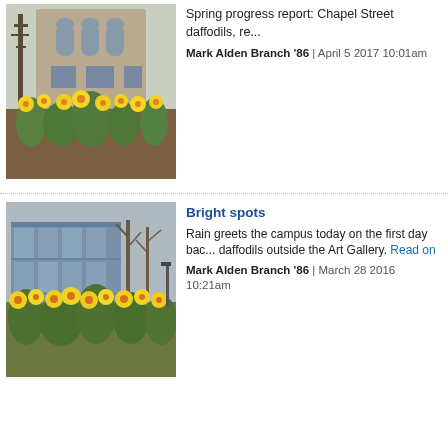[Figure (photo): Photo of a Gothic stone building with yellow daffodils blooming in the foreground garden bed, bare trees visible]
Spring progress report: Chapel Street daffodils, re...
Mark Alden Branch '86 | April 5 2017 10:01am
[Figure (photo): Photo of a modern glass building with yellow daffodils blooming in the foreground, overcast sky and bare trees visible]
Bright spots
Rain greets the campus today on the first day back... daffodils outside the Art Gallery. Read on
Mark Alden Branch '86 | March 28 2016 10:21am